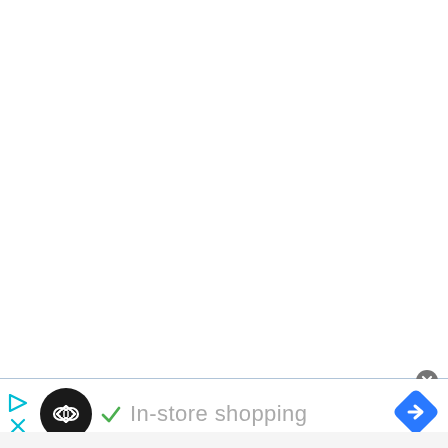[Figure (screenshot): A UI screenshot showing a mostly white area with a thin blue-gray border line near the bottom, a circular close (X) button at the top-right of the border, and a bottom ad bar containing: a play/close icon group on the left, a black circular logo with infinity-like symbol, a green checkmark, the text 'In-store shopping' in gray, and a blue navigation diamond arrow icon on the right.]